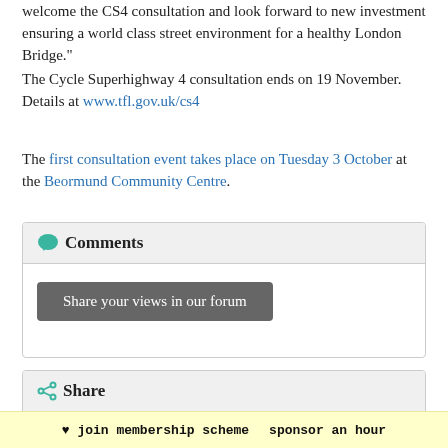welcome the CS4 consultation and look forward to new investment ensuring a world class street environment for a healthy London Bridge."
The Cycle Superhighway 4 consultation ends on 19 November. Details at www.tfl.gov.uk/cs4
The first consultation event takes place on Tuesday 3 October at the Beormund Community Centre.
Comments
Share your views in our forum
Share
Tweet
Share
♥ join membership scheme   sponsor an hour